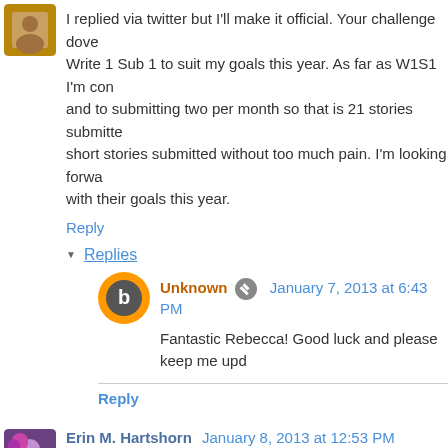I replied via twitter but I'll make it official. Your challenge dovetails perfectly with my Write 1 Sub 1 to suit my goals this year. As far as W1S1 I'm committed to writing one story and to submitting two per month so that is 21 stories submitted. I think I can get 21 short stories submitted without too much pain. I'm looking forward to helping people with their goals this year.
Reply
▼ Replies
Unknown January 7, 2013 at 6:43 PM
Fantastic Rebecca! Good luck and please keep me upd
Reply
Erin M. Hartshorn January 8, 2013 at 12:53 PM
I'm in! 23 blog posts is too easy -- I generally do anywhere from also easy, assuming short stories get rejected and go back out - had almost no new written work. So I had to think about what I w
Craft projects? Ummm . . . I'm good at working on those at the b if I get a dozen done, that would be excellent, since they tend to